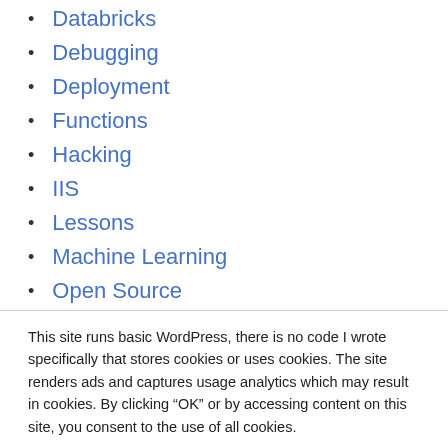Databricks
Debugging
Deployment
Functions
Hacking
IIS
Lessons
Machine Learning
Open Source
This site runs basic WordPress, there is no code I wrote specifically that stores cookies or uses cookies. The site renders ads and captures usage analytics which may result in cookies. By clicking “OK” or by accessing content on this site, you consent to the use of all cookies.